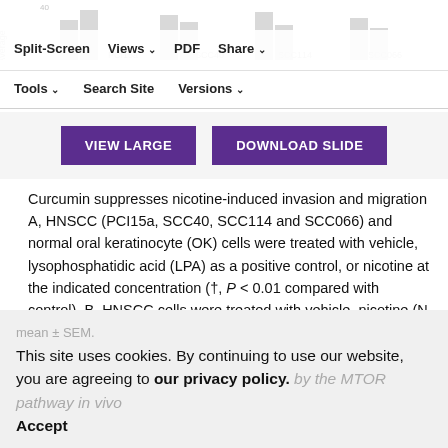Split-Screen | Views | PDF | Share | Tools | Search Site | Versions
[Figure (screenshot): Partial bar chart screenshot visible at top of page showing groups PCI15a, SCC40, SCC114, SCC066 with an Average axis label]
VIEW LARGE   DOWNLOAD SLIDE
Curcumin suppresses nicotine-induced invasion and migration A, HNSCC (PCI15a, SCC40, SCC114 and SCC066) and normal oral keratinocyte (OK) cells were treated with vehicle, lysophosphatidic acid (LPA) as a positive control, or nicotine at the indicated concentration (†, P < 0.01 compared with control). B, HNSCC cells were treated with vehicle, nicotine (N, 0.1 mmol/L), and curcumin at the indicated concentration (*, P < 0.001 compared with control), mean ± SEM.
This site uses cookies. By continuing to use our website, you are agreeing to our privacy policy. Accept